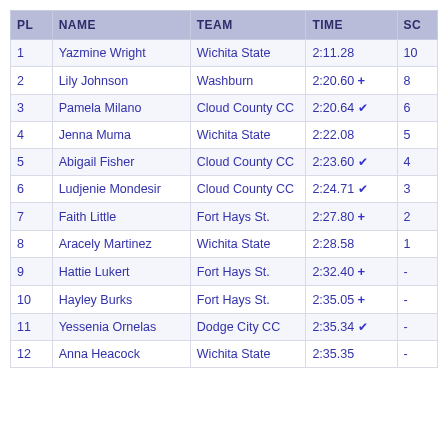| PL | NAME | TEAM | TIME | SC |
| --- | --- | --- | --- | --- |
| 1 | Yazmine Wright | Wichita State | 2:11.28 | 10 |
| 2 | Lily Johnson | Washburn | 2:20.60 + | 8 |
| 3 | Pamela Milano | Cloud County CC | 2:20.64 ✓ | 6 |
| 4 | Jenna Muma | Wichita State | 2:22.08 | 5 |
| 5 | Abigail Fisher | Cloud County CC | 2:23.60 ✓ | 4 |
| 6 | Ludjenie Mondesir | Cloud County CC | 2:24.71 ✓ | 3 |
| 7 | Faith Little | Fort Hays St. | 2:27.80 + | 2 |
| 8 | Aracely Martinez | Wichita State | 2:28.58 | 1 |
| 9 | Hattie Lukert | Fort Hays St. | 2:32.40 + | - |
| 10 | Hayley Burks | Fort Hays St. | 2:35.05 + | - |
| 11 | Yessenia Ornelas | Dodge City CC | 2:35.34 ✓ | - |
| 12 | Anna Heacock | Wichita State | 2:35.35 | - |